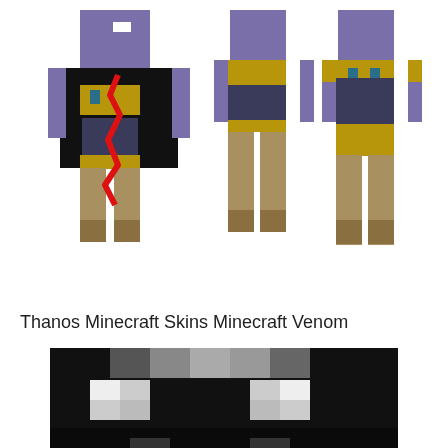[Figure (illustration): Thanos Minecraft skin shown from multiple angles (front with black overlay and red accent, front view, front-facing with armor detail, and side/back view). The character has a purple head and limbs with gold armor details and dark body. The leftmost view shows a black silhouette overlay with a red zigzag line.]
Thanos Minecraft Skins Minecraft Venom
[Figure (illustration): Close-up cropped view of a Minecraft Venom character head/face, showing a dark black and grey pixelated blocky face with white eye markings, partially cut off at the bottom of the page.]